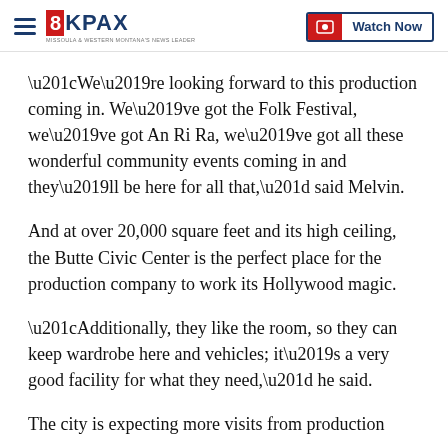8KPAX — Watch Now
“We’re looking forward to this production coming in. We’ve got the Folk Festival, we’ve got An Ri Ra, we’ve got all these wonderful community events coming in and they’ll be here for all that,” said Melvin.
And at over 20,000 square feet and its high ceiling, the Butte Civic Center is the perfect place for the production company to work its Hollywood magic.
“Additionally, they like the room, so they can keep wardrobe here and vehicles; it’s a very good facility for what they need,” he said.
The city is expecting more visits from production